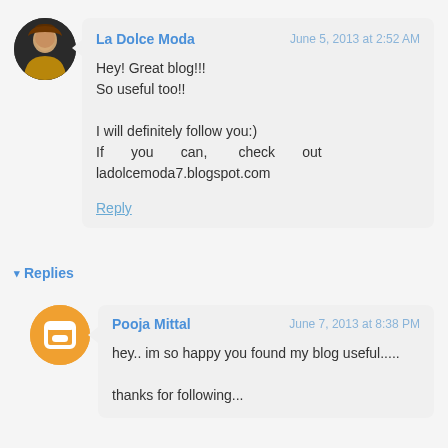La Dolce Moda — June 5, 2013 at 2:52 AM
Hey! Great blog!!!
So useful too!!

I will definitely follow you:)
If you can, check out ladolcemoda7.blogspot.com

Reply
▾ Replies
Pooja Mittal — June 7, 2013 at 8:38 PM
hey.. im so happy you found my blog useful.....

thanks for following...